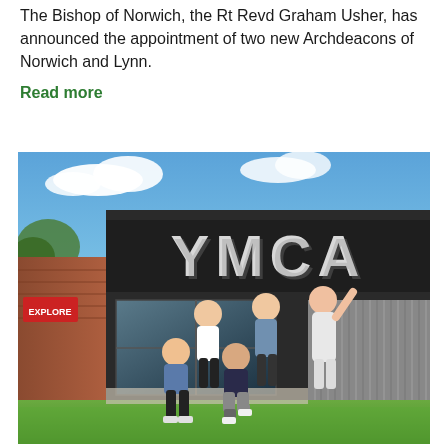The Bishop of Norwich, the Rt Revd Graham Usher, has announced the appointment of two new Archdeacons of Norwich and Lynn.
Read more
[Figure (photo): Group of five people posing outside a YMCA building on a sunny day. The building has a dark facade with large white 3D YMCA letters. Three women stand in the back row, and two people (a woman and a man) crouch in the front. There is a brick building on the left, a corrugated wall on the right, blue sky with clouds, and green grass in the foreground.]